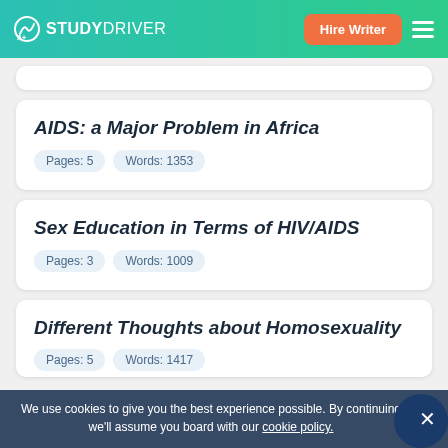STUDYDRIVER | Hire Writer
AIDS: a Major Problem in Africa
Pages: 5   Words: 1353
Sex Education in Terms of HIV/AIDS
Pages: 3   Words: 1009
Different Thoughts about Homosexuality
Pages: 5   Words: 1417
We use cookies to give you the best experience possible. By continuing we'll assume you board with our cookie policy.